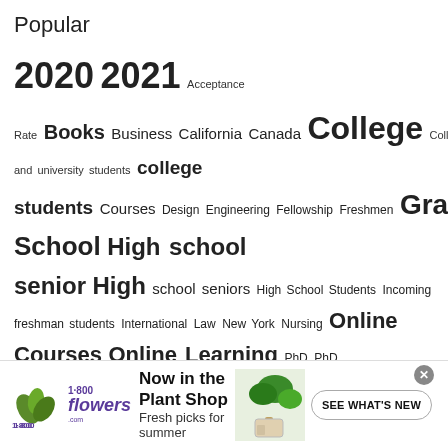Popular
2020 2021 Acceptance Rate Books Business California Canada College College and university students college students Courses Design Engineering Fellowship Freshmen Graduate High School High school senior High school seniors High School Students Incoming freshman students International Law New York Nursing Online Courses Online Learning PhD PhD Students Photography Program Scholarships School Science Students Study in USA Texas Undergraduate undergraduates United States
[Figure (other): 1-800-Flowers advertisement banner: 'Now in the Plant Shop - Fresh picks for summer' with plant image and 'SEE WHAT'S NEW' button]